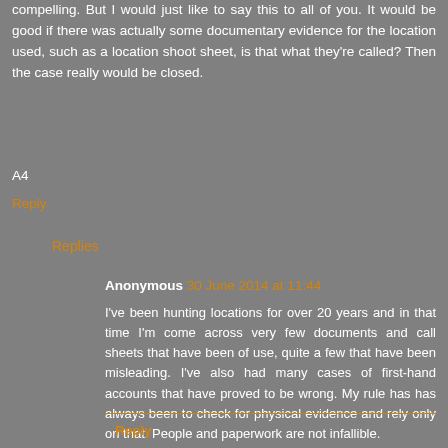compelling. But I would just like to say this to all of you. It would be good if there was actually some documentary evidence for the location used, such as a location shoot sheet, is that what they're called? Then the case really would be closed.
A4
Reply
Replies
Anonymous 30 June 2014 at 11:44
I've been hunting locations for over 20 years and in that time I'm come across very few documents and call sheets that have been of use, quite a few that have been misleading. I've also had many cases of first-hand accounts that have proved to be wrong. My rule has has always been to check for physical evidence and rely only on that. People and paperwork are not infallible.
Reply